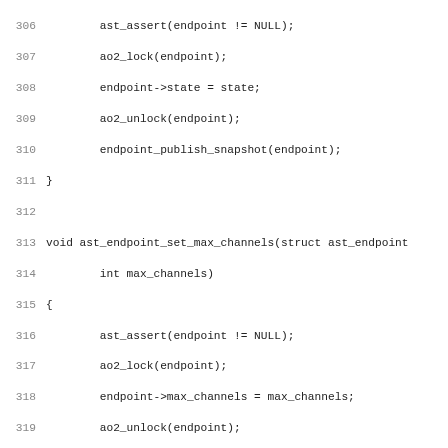[Figure (screenshot): Source code listing showing C functions: ast_endpoint_set_max_channels, endpoint_snapshot_dtor, and ast_endpoint_snapshot_create, with line numbers 306-338]